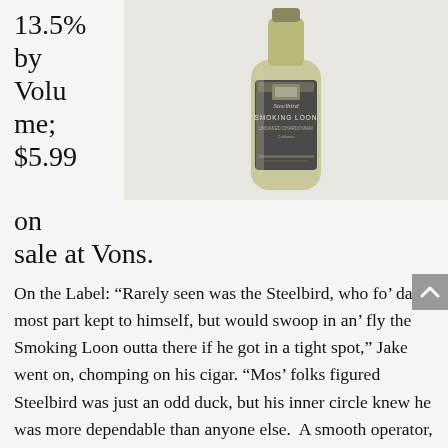13.5% by Volume; $5.99 on sale at Vons.
[Figure (photo): A bottle of Smoking Loon Unoaked Chardonnay wine with a dark label featuring the Steelbird branding, against a light beige background.]
On the Label: “Rarely seen was the Steelbird, who fo’ da most part kept to himself, but would swoop in an’ fly the Smoking Loon outta there if he got in a tight spot,” Jake went on, chomping on his cigar. “Mos’ folks figured Steelbird was just an odd duck, but his inner circle knew he was more dependable than anyone else.  A smooth operator, never takin’ any chances. He kept his ride pristine – sleek, gleaming and finely tuned. He’d maneuver these